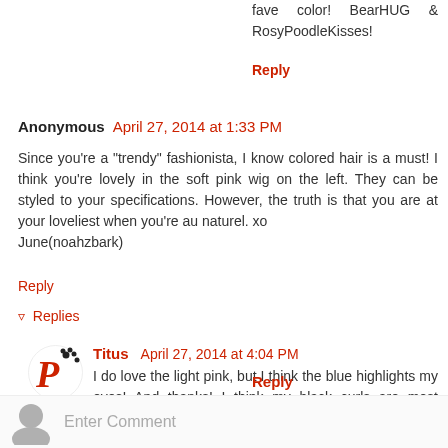fave color! BearHUG & RosyPoodleKisses!
Reply
Anonymous  April 27, 2014 at 1:33 PM
Since you're a "trendy" fashionista, I know colored hair is a must! I think you're lovely in the soft pink wig on the left. They can be styled to your specifications. However, the truth is that you are at your loveliest when you're au naturel. xo
June(noahzbark)
Reply
▾  Replies
Titus   April 27, 2014 at 4:04 PM
I do love the light pink, but I think the blue highlights my eyes! And thanks! I think my black curls are most becoming on me! BearHUGs & RosyPoodleKisses!
Reply
Enter Comment